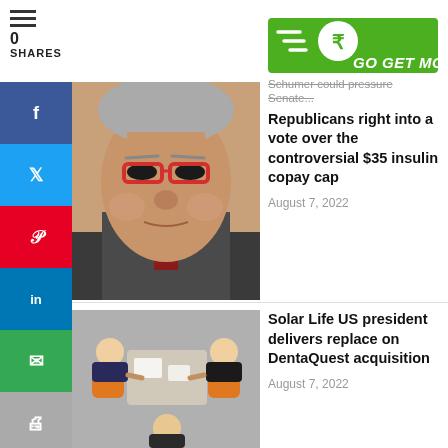[Figure (logo): Go Get Money logo with green speedometer/rupee symbol and bold italic text]
0
SHARES
[Figure (photo): Close-up photo of elderly man with red glasses and gray hair]
Republicans right into a vote over the controversial $35 insulin copay cap
August 7, 2022
[Figure (photo): Aerial/top-down view of business people meeting around a table with orange chairs]
Solar Life US president delivers replace on DentaQuest acquisition
August 7, 2022